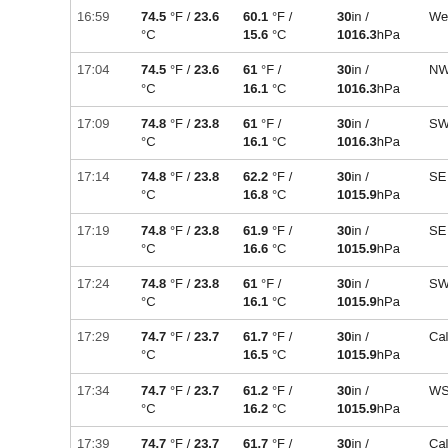| Time | Temp | Dew Point | Pressure | Wind Dir | Wind Speed |
| --- | --- | --- | --- | --- | --- |
| 16:59 | 74.5 °F / 23.6 °C | 60.1 °F / 15.6 °C | 30in / 1016.3hPa | West | 2. 4 |
| 17:04 | 74.5 °F / 23.6 °C | 61 °F / 16.1 °C | 30in / 1016.3hPa | NW | 0. 1 |
| 17:09 | 74.8 °F / 23.8 °C | 61 °F / 16.1 °C | 30in / 1016.3hPa | SW | 2 3 |
| 17:14 | 74.8 °F / 23.8 °C | 62.2 °F / 16.8 °C | 30in / 1015.9hPa | SE | 0. 1 |
| 17:19 | 74.8 °F / 23.8 °C | 61.9 °F / 16.6 °C | 30in / 1015.9hPa | SE | 0. 1 |
| 17:24 | 74.8 °F / 23.8 °C | 61 °F / 16.1 °C | 30in / 1015.9hPa | SW | 2 3 |
| 17:29 | 74.7 °F / 23.7 °C | 61.7 °F / 16.5 °C | 30in / 1015.9hPa | Calm |  |
| 17:34 | 74.7 °F / 23.7 °C | 61.2 °F / 16.2 °C | 30in / 1015.9hPa | WSW | 0. 1 |
| 17:39 | 74.7 °F / 23.7 °C | 61.7 °F / 16.5 °C | 30in / 1015.9hPa | Calm |  |